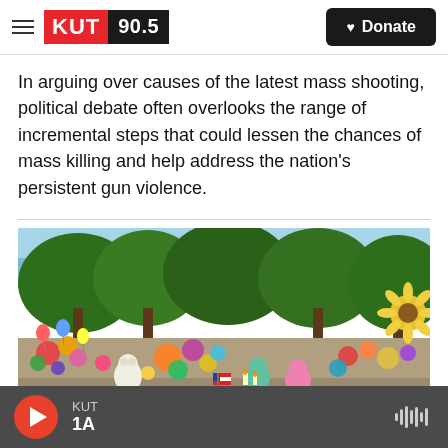KUT 90.5 | Donate
In arguing over causes of the latest mass shooting, political debate often overlooks the range of incremental steps that could lessen the chances of mass killing and help address the nation's persistent gun violence.
[Figure (photo): Memorial with flowers, stuffed animals, balloons and tributes outdoors under trees, likely a public memorial for mass shooting victims]
KUT | 1A (audio player bar)